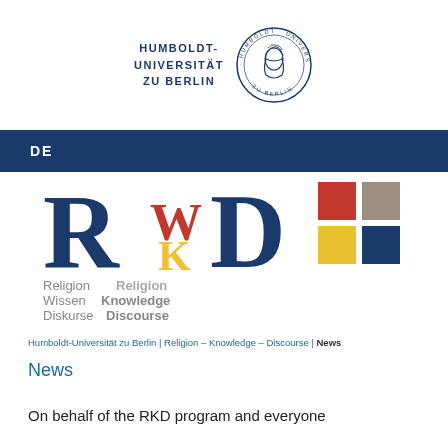[Figure (logo): Humboldt-Universität zu Berlin logo with circular seal showing a portrait and the text HUMBOLDT-UNIVERSITÄT ZU BERLIN]
DE
[Figure (logo): RKD logo: large stylized letters R, WK, D in dark blue with red W, accompanied by four colored squares (red, gray/brown, yellow, dark blue) and text: Religion Religion / Wissen Knowledge / Diskurse Discourse]
Humboldt-Universität zu Berlin | Religion – Knowledge – Discourse | News
News
On behalf of the RKD program and everyone